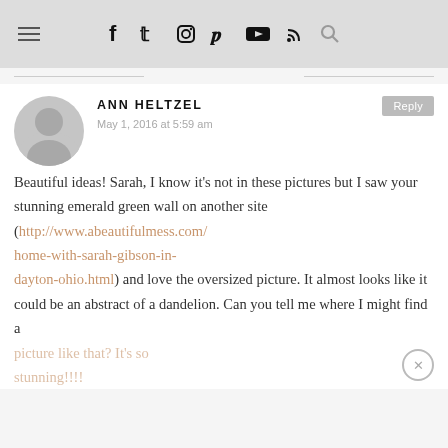≡ f 🐦 📷 𝒑 ▶ ))) 🔍
ANN HELTZEL
May 1, 2016 at 5:59 am
Beautiful ideas! Sarah, I know it's not in these pictures but I saw your stunning emerald green wall on another site (http://www.abeautifulmess.com/home-with-sarah-gibson-in-dayton-ohio.html) and love the oversized picture. It almost looks like it could be an abstract of a dandelion. Can you tell me where I might find a picture like that? It's so stunning!!!!